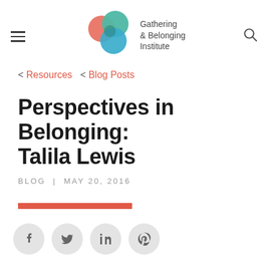Gathering & Belonging Institute
< Resources  < Blog Posts
Perspectives in Belonging: Talila Lewis
BLOG | MAY 20, 2016
[Figure (other): Red horizontal decorative bar]
[Figure (other): Social share icons: Facebook, Twitter, LinkedIn, Pinterest]